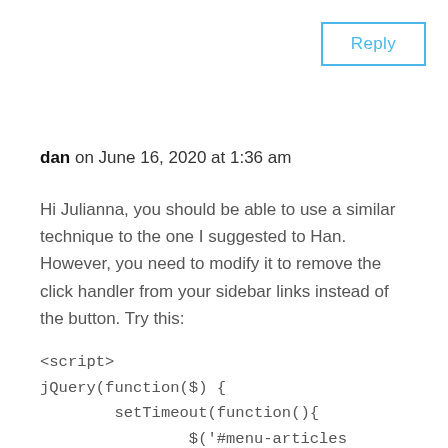Reply
dan on June 16, 2020 at 1:36 am
Hi Julianna, you should be able to use a similar technique to the one I suggested to Han. However, you need to modify it to remove the click handler from your sidebar links instead of the button. Try this: